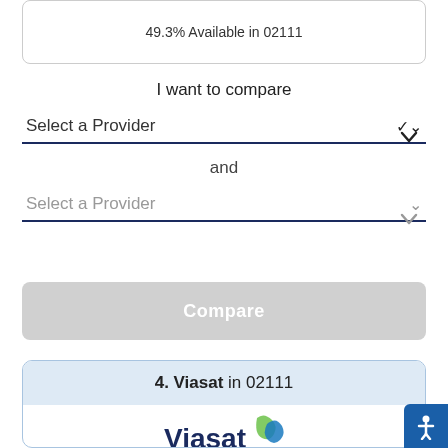49.3% Available in 02111
I want to compare
Select a Provider
and
Select a Provider
Compare
4. Viasat in 02111
[Figure (logo): Viasat logo with blue and green wave graphic]